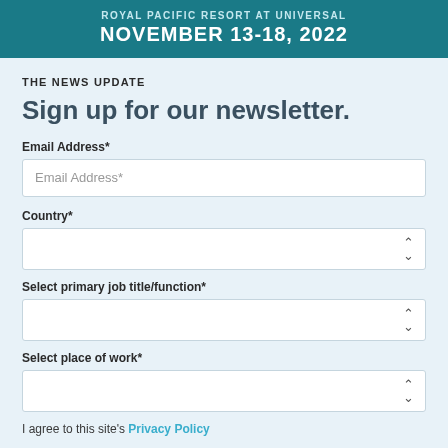ROYAL PACIFIC RESORT AT UNIVERSAL
NOVEMBER 13-18, 2022
THE NEWS UPDATE
Sign up for our newsletter.
Email Address*
Country*
Select primary job title/function*
Select place of work*
I agree to this site's Privacy Policy